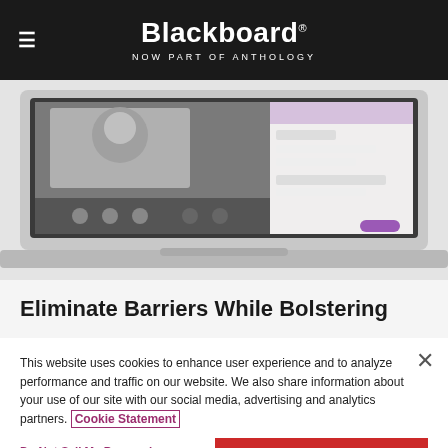Blackboard NOW PART OF ANTHOLOGY
[Figure (screenshot): Laptop computer displaying Blackboard Collaborate interface with a video session showing a person and chat panel on the right side]
Eliminate Barriers While Bolstering
This website uses cookies to enhance user experience and to analyze performance and traffic on our website. We also share information about your use of our site with our social media, advertising and analytics partners. Cookie Statement
Do Not Sell My Personal Information
Accept Cookies